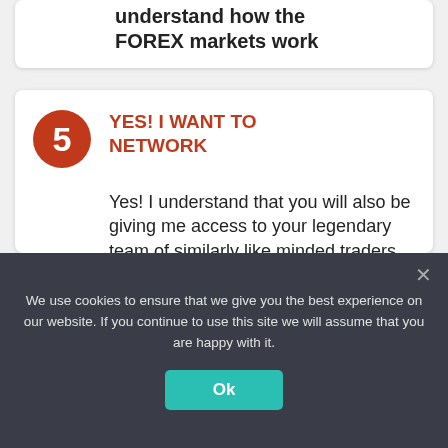understand how the FOREX markets work
YES! I WANT TO NETWORK
Yes! I understand that you will also be giving me access to your legendary team of similarly like minded traders with who; I can network and who use your methods to help
We use cookies to ensure that we give you the best experience on our website. If you continue to use this site we will assume that you are happy with it.